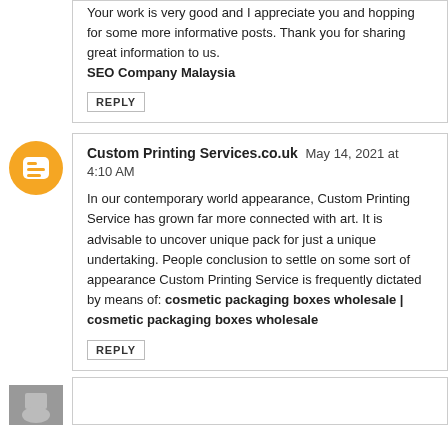Your work is very good and I appreciate you and hopping for some more informative posts. Thank you for sharing great information to us. SEO Company Malaysia
REPLY
Custom Printing Services.co.uk  May 14, 2021 at 4:10 AM
In our contemporary world appearance, Custom Printing Service has grown far more connected with art. It is advisable to uncover unique pack for just a unique undertaking. People conclusion to settle on some sort of appearance Custom Printing Service is frequently dictated by means of: cosmetic packaging boxes wholesale | cosmetic packaging boxes wholesale
REPLY